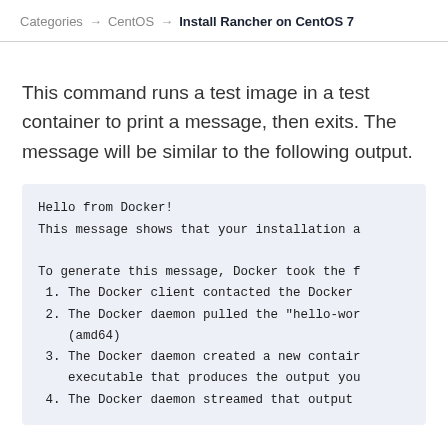Categories → CentOS → Install Rancher on CentOS 7
This command runs a test image in a test container to print a message, then exits. The message will be similar to the following output.
Hello from Docker!
This message shows that your installation a

To generate this message, Docker took the f
 1. The Docker client contacted the Docker
 2. The Docker daemon pulled the "hello-wor
    (amd64)
 3. The Docker daemon created a new contair
    executable that produces the output you
 4. The Docker daemon streamed that output